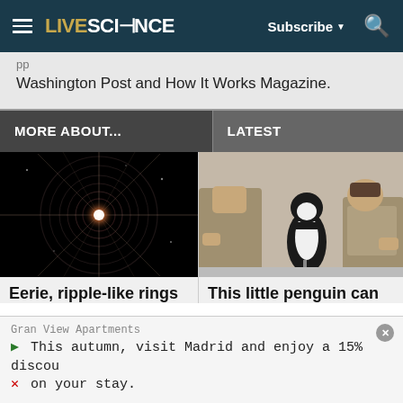LIVESCIENCE | Subscribe | Search
Washington Post and How It Works Magazine.
MORE ABOUT...
LATEST
[Figure (photo): Eerie star burst with ripple-like rings on black background]
Eerie, ripple-like rings
[Figure (photo): A small penguin standing between two crouching zookeepers]
This little penguin can
Gran View Apartments
This autumn, visit Madrid and enjoy a 15% discou
on your stay.